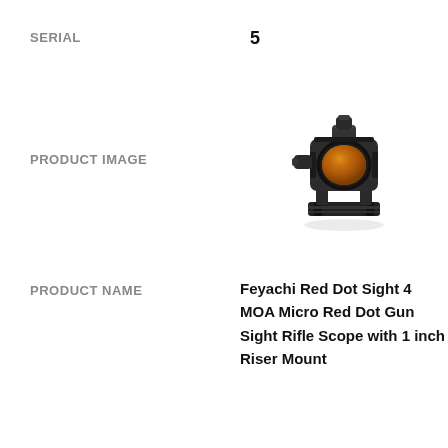SERIAL
5
PRODUCT IMAGE
[Figure (photo): Photo of a Feyachi red dot sight with orange-tinted lens and 1-inch riser mount, black finish, viewed from a slight angle.]
PRODUCT NAME
Feyachi Red Dot Sight 4 MOA Micro Red Dot Gun Sight Rifle Scope with 1 inch Riser Mount